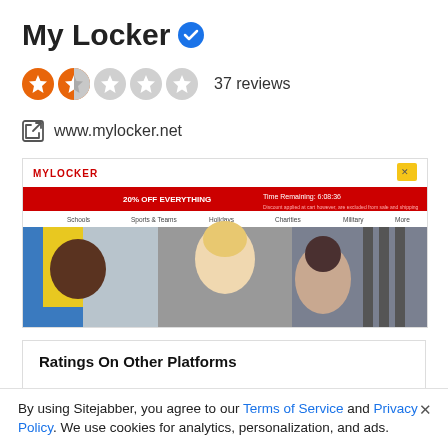My Locker ✓
[Figure (other): Star rating: approximately 1.5 out of 5, with 5 star icons (first orange filled, second half orange, remaining grey)]
37 reviews
www.mylocker.net
[Figure (screenshot): Screenshot of mylocker.net website showing logo, red banner with '20% OFF EVERYTHING' and 'Time Remaining: 6:08:36', navigation menu (Schools, Sports & Teams, Holidays, Charities, Military, More), and collage of people with sports equipment]
Ratings On Other Platforms
Trustpilot    3.1 / 5
By using Sitejabber, you agree to our Terms of Service and Privacy Policy. We use cookies for analytics, personalization, and ads.